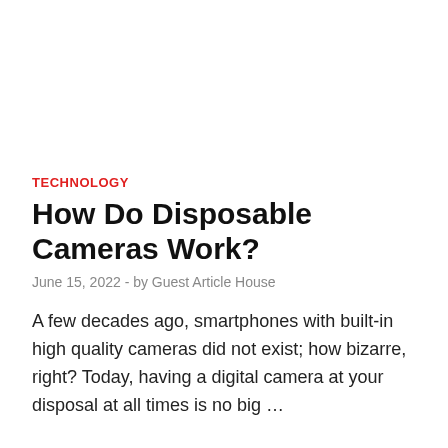TECHNOLOGY
How Do Disposable Cameras Work?
June 15, 2022  -  by Guest Article House
A few decades ago, smartphones with built-in high quality cameras did not exist; how bizarre, right? Today, having a digital camera at your disposal at all times is no big …